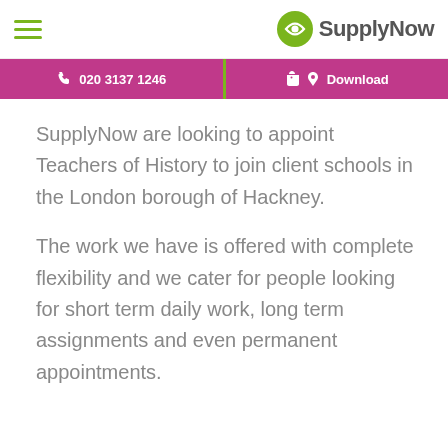SupplyNow
020 3137 1246 | Download
SupplyNow are looking to appoint Teachers of History to join client schools in the London borough of Hackney.
The work we have is offered with complete flexibility and we cater for people looking for short term daily work, long term assignments and even permanent appointments.
Job description:
The successful Teacher of History will: